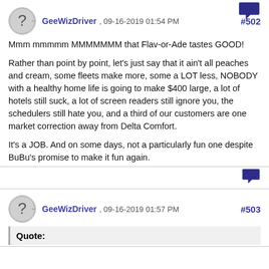[Figure (illustration): Speech bubble icon in dark navy/purple at top right corner]
GeeWizDriver , 09-16-2019 01:54 PM #502
Mmm mmmmm MMMMMMM that Flav-or-Ade tastes GOOD!

Rather than point by point, let's just say that it ain't all peaches and cream, some fleets make more, some a LOT less, NOBODY with a healthy home life is going to make $400 large, a lot of hotels still suck, a lot of screen readers still ignore you, the schedulers still hate you, and a third of our customers are one market correction away from Delta Comfort.

It's a JOB. And on some days, not a particularly fun one despite BuBu's promise to make it fun again.
[Figure (illustration): Speech bubble icon in dark navy/purple at bottom right of first post]
GeeWizDriver , 09-16-2019 01:57 PM #503
Quote: